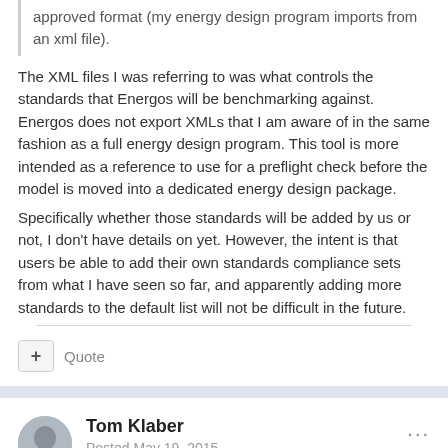approved format (my energy design program imports from an xml file).
The XML files I was referring to was what controls the standards that Energos will be benchmarking against. Energos does not export XMLs that I am aware of in the same fashion as a full energy design program. This tool is more intended as a reference to use for a preflight check before the model is moved into a dedicated energy design package.
Specifically whether those standards will be added by us or not, I don't have details on yet. However, the intent is that users be able to add their own standards compliance sets from what I have seen so far, and apparently adding more standards to the default list will not be difficult in the future.
Quote
Tom Klaber
Posted May 19, 2015